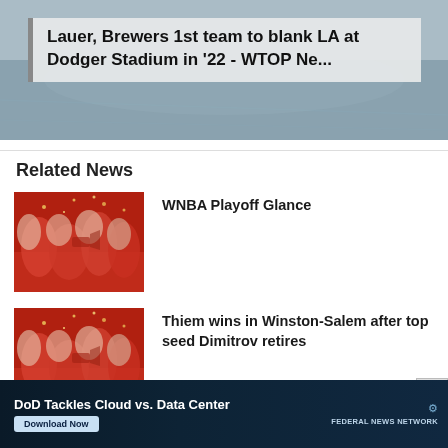[Figure (photo): Top banner photo of baseball/sports scene, partially visible]
Lauer, Brewers 1st team to blank LA at Dodger Stadium in '22 - WTOP Ne...
Related News
[Figure (photo): Sports fans in red celebrating, crowd scene thumbnail for WNBA Playoff Glance]
WNBA Playoff Glance
[Figure (photo): Sports fans in red celebrating, crowd scene thumbnail for Thiem wins]
Thiem wins in Winston-Salem after top seed Dimitrov retires
[Figure (photo): Sports fans in red celebrating, crowd scene thumbnail for 2022 Little League World Series Glance]
2022 Little League World Series Glance
[Figure (screenshot): Ad banner: DoD Tackles Cloud vs. Data Center - Federal News Network - Download Now]